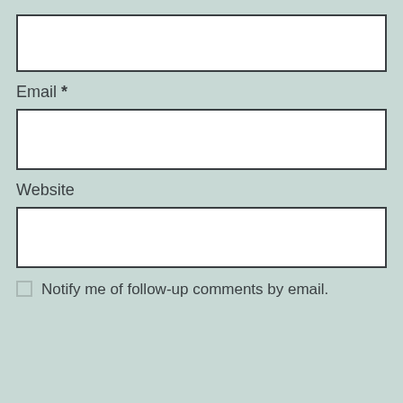[Figure (other): Empty text input field (top, no label visible)]
Email *
[Figure (other): Empty text input field for Email]
Website
[Figure (other): Empty text input field for Website]
Notify me of follow-up comments by email.